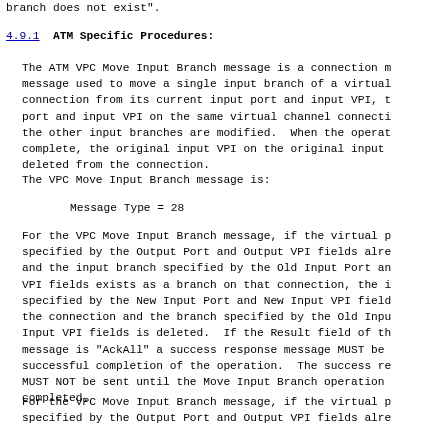branch does not exist".
4.9.1  ATM Specific Procedures:
The ATM VPC Move Input Branch message is a connection m message used to move a single input branch of a virtual connection from its current input port and input VPI, t port and input VPI on the same virtual channel connecti the other input branches are modified.  When the operat complete, the original input VPI on the original input deleted from the connection.
The VPC Move Input Branch message is:
Message Type = 28
For the VPC Move Input Branch message, if the virtual p specified by the Output Port and Output VPI fields alre and the input branch specified by the Old Input Port an VPI fields exists as a branch on that connection, the i specified by the New Input Port and New Input VPI field the connection and the branch specified by the Old Inpu Input VPI fields is deleted.  If the Result field of th message is "AckAll" a success response message MUST be successful completion of the operation.  The success re MUST NOT be sent until the Move Input Branch operation completed.
For the VPC Move Input Branch message, if the virtual p specified by the Output Port and Output VPI fields alre